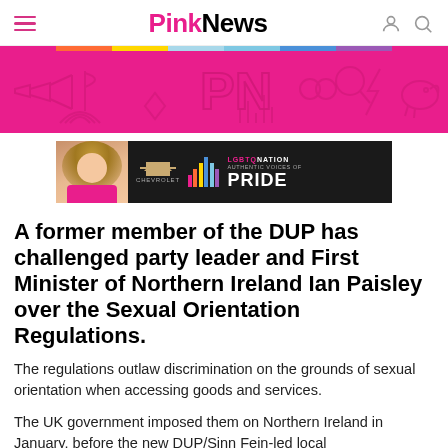PinkNews
[Figure (illustration): Pink banner with PinkNews PN logo outline icons on hot pink background]
[Figure (other): Advertisement banner: woman photo, Chevrolet logo, rainbow bars, LGBTQ Nation Authentic Voices of Pride text on dark background]
A former member of the DUP has challenged party leader and First Minister of Northern Ireland Ian Paisley over the Sexual Orientation Regulations.
The regulations outlaw discrimination on the grounds of sexual orientation when accessing goods and services.
The UK government imposed them on Northern Ireland in January, before the new DUP/Sinn Fein-led local